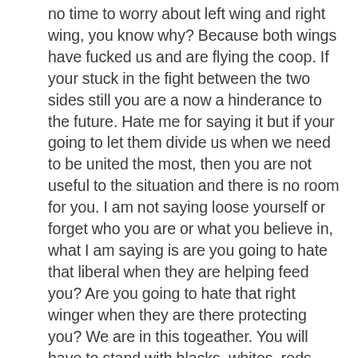no time to worry about left wing and right wing, you know why? Because both wings have fucked us and are flying the coop. If your stuck in the fight between the two sides still you are a now a hinderance to the future. Hate me for saying it but if your going to let them divide us when we need to be united the most, then you are not useful to the situation and there is no room for you. I am not saying loose yourself or forget who you are or what you believe in, what I am saying is are you going to hate that liberal when they are helping feed you? Are you going to hate that right winger when they are there protecting you? We are in this togeather. You will have to stand with blacks, whites, reds, yellows, browns, christians, athiests, wiccans, pagans, poor, wealthy, smart, stupid, young, old, right wing, left wing. If you can not do this or accept this then you